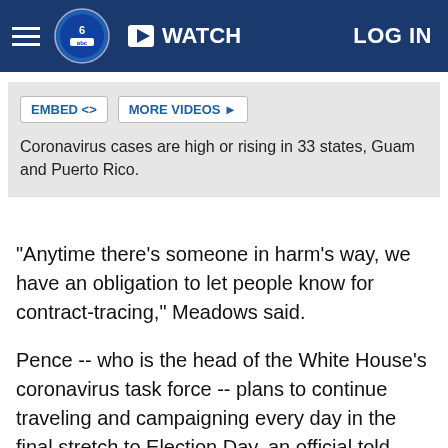WATCH  LOG IN
[Figure (screenshot): Embedded video player area with EMBED <> and MORE VIDEOS buttons]
Coronavirus cases are high or rising in 33 states, Guam and Puerto Rico.
"Anytime there's someone in harm's way, we have an obligation to let people know for contract-tracing," Meadows said.
Pence -- who is the head of the White House's coronavirus task force -- plans to continue traveling and campaigning every day in the final stretch to Election Day, an official told CNN.